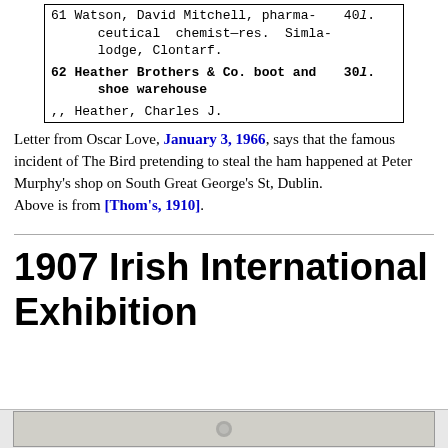| 61 Watson, David Mitchell, pharmaceutical chemist—res. Simla-lodge, Clontarf. | 40l. |
| 62 Heather Brothers & Co. boot and shoe warehouse | 30l. |
| ,, Heather, Charles J. |  |
Letter from Oscar Love, January 3, 1966, says that the famous incident of The Bird pretending to steal the ham happened at Peter Murphy's shop on South Great George's St, Dublin.
Above is from [Thom's, 1910].
1907 Irish International Exhibition
[Figure (photo): Partial bottom image bar, cropped at bottom of page]